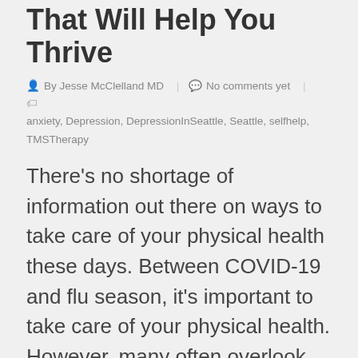That Will Help You Thrive
By Jesse McClelland MD | No comments yet | anxiety, Depression, DepressionInSeattle, Seattle, selfhelp, TMSTherapy
There's no shortage of information out there on ways to take care of your physical health these days. Between COVID-19 and flu season, it's important to take care of your physical health. However, many often overlook the importance of mental wellness, especially during these challenging times. Perhaps you feel a little uneasy these days from all the uncertainty surrounding social